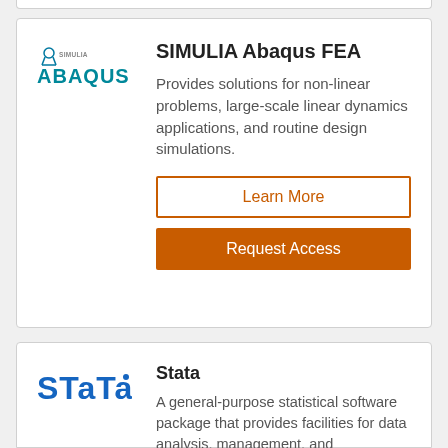[Figure (logo): SIMULIA Abaqus logo with icon and teal ABAQUS text]
SIMULIA Abaqus FEA
Provides solutions for non-linear problems, large-scale linear dynamics applications, and routine design simulations.
Learn More
Request Access
[Figure (logo): Stata logo in blue bold text]
Stata
A general-purpose statistical software package that provides facilities for data analysis, management, and visualization.